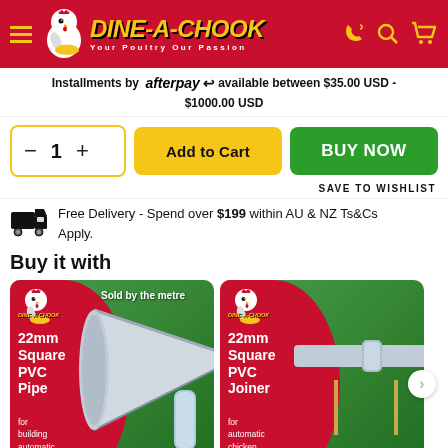DINE-A-CHOOK — Your Poultry Our Passion
Installments by afterpay available between $35.00 USD - $1000.00 USD
— 1 + | Add to Cart | BUY NOW
SAVE TO WISHLIST
Free Delivery - Spend over $199 within AU & NZ Ts&Cs Apply.
Buy it with
[Figure (photo): Product card: 22mm Square PVC Pipe for building automatic poultry watering systems. Sold by the metre. Red and green background with pipe image.]
[Figure (photo): Product card: 22mm Square PVC Joiner for automatic chicken watering systems. Red and green background with joiner pipe image.]